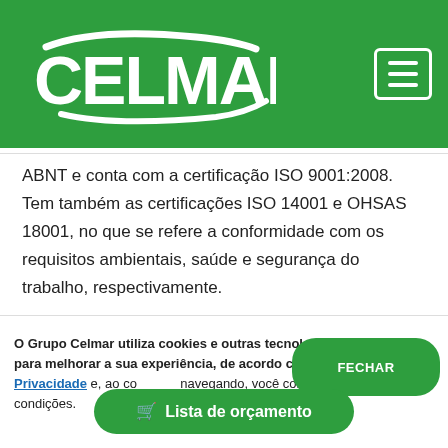[Figure (logo): Celmar company logo in white on green background, with hamburger menu icon in top right]
ABNT e conta com a certificação ISO 9001:2008. Tem também as certificações ISO 14001 e OHSAS 18001, no que se refere a conformidade com os requisitos ambientais, saúde e segurança do trabalho, respectivamente.
O Grupo Celmar utiliza cookies e outras tecnologias semelhantes para melhorar a sua experiência, de acordo com a nossa Política de Privacidade e, ao co... navegando, você concorda co... condições.